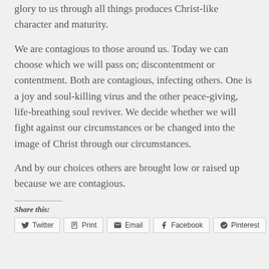glory to us through all things produces Christ-like character and maturity.
We are contagious to those around us. Today we can choose which we will pass on; discontentment or contentment. Both are contagious, infecting others. One is a joy and soul-killing virus and the other peace-giving, life-breathing soul reviver. We decide whether we will fight against our circumstances or be changed into the image of Christ through our circumstances.
And by our choices others are brought low or raised up because we are contagious.
Share this:
Twitter  Print  Email  Facebook  Pinterest